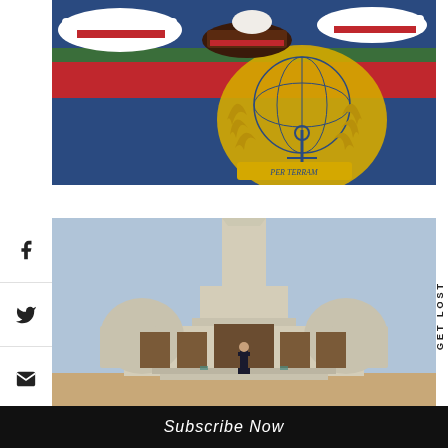[Figure (photo): Close-up photograph of military caps and a flag with a crest reading 'PER TERRAM' on a blue, red, and green striped background. Yellow wreath and anchor emblem visible.]
[Figure (photo): Photograph of a war memorial monument in white stone with a soldier in dark uniform standing at attention in front of it. Bronze memorial plaques visible on the structure.]
GET LOST
Subscribe Now